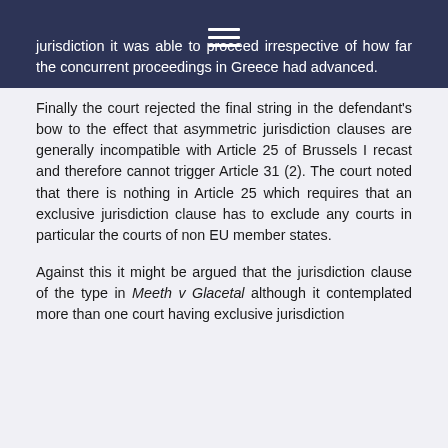jurisdiction it was able to proceed irrespective of how far the concurrent proceedings in Greece had advanced.
Finally the court rejected the final string in the defendant's bow to the effect that asymmetric jurisdiction clauses are generally incompatible with Article 25 of Brussels I recast and therefore cannot trigger Article 31 (2). The court noted that there is nothing in Article 25 which requires that an exclusive jurisdiction clause has to exclude any courts in particular the courts of non EU member states.
Against this it might be argued that the jurisdiction clause of the type in Meeth v Glacetal although it contemplated more than one court having exclusive jurisdiction